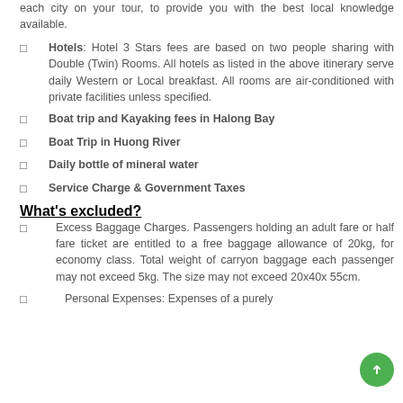each city on your tour, to provide you with the best local knowledge available.
Hotels: Hotel 3 Stars fees are based on two people sharing with Double (Twin) Rooms. All hotels as listed in the above itinerary serve daily Western or Local breakfast. All rooms are air-conditioned with private facilities unless specified.
Boat trip and Kayaking fees in Halong Bay
Boat Trip in Huong River
Daily bottle of mineral water
Service Charge & Government Taxes
What's excluded?
Excess Baggage Charges. Passengers holding an adult fare or half fare ticket are entitled to a free baggage allowance of 20kg, for economy class. Total weight of carryon baggage each passenger may not exceed 5kg. The size may not exceed 20x40x 55cm.
Personal Expenses: Expenses of a purely